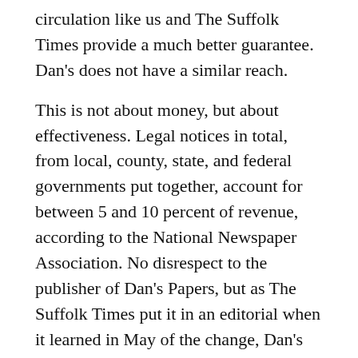circulation like us and The Suffolk Times provide a much better guarantee. Dan's does not have a similar reach.
This is not about money, but about effectiveness. Legal notices in total, from local, county, state, and federal governments put together, account for between 5 and 10 percent of revenue, according to the National Newspaper Association. No disrespect to the publisher of Dan's Papers, but as The Suffolk Times put it in an editorial when it learned in May of the change, Dan's “has never been known for its dedication to covering local government news of any kind — let alone in Southold Town, where our newspaper is based, owned locally, and has published continually since